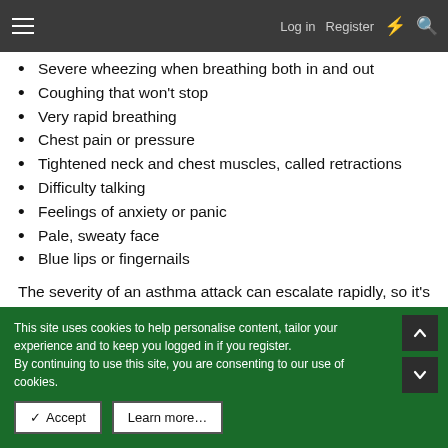Log in   Register
Severe wheezing when breathing both in and out
Coughing that won't stop
Very rapid breathing
Chest pain or pressure
Tightened neck and chest muscles, called retractions
Difficulty talking
Feelings of anxiety or panic
Pale, sweaty face
Blue lips or fingernails
The severity of an asthma attack can escalate rapidly, so it's important to treat these symptoms immediately once you recognize them.
This site uses cookies to help personalise content, tailor your experience and to keep you logged in if you register.
By continuing to use this site, you are consenting to our use of cookies.